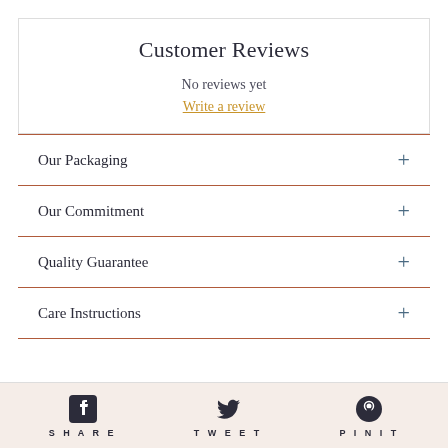Customer Reviews
No reviews yet
Write a review
Our Packaging
Our Commitment
Quality Guarantee
Care Instructions
SHARE   TWEET   PIN IT